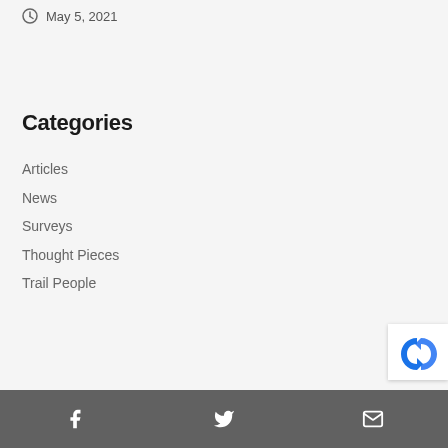May 5, 2021
Categories
Articles
News
Surveys
Thought Pieces
Trail People
[Figure (logo): reCAPTCHA badge partial view showing blue arrow logo]
Facebook, Twitter, Email social media icons